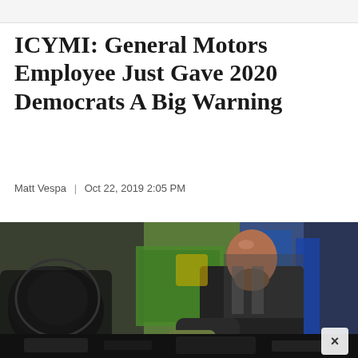ICYMI: General Motors Employee Just Gave 2020 Democrats A Big Warning
Matt Vespa  |  Oct 22, 2019 2:05 PM
[Figure (photo): A man with a shaved head and beard, wearing a dark t-shirt and gloves, works on a vehicle engine or automotive component in an industrial factory setting. Background shows blue and green industrial equipment and shelving.]
[Figure (photo): Bottom strip showing a dark automotive engine or mechanical component, partially visible.]